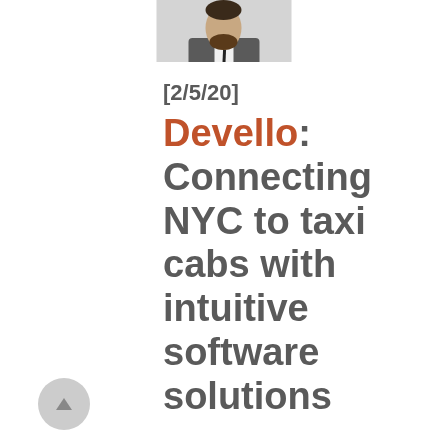[Figure (photo): Photo of a man in a gray suit with a black tie, cropped to show head and upper torso, positioned at top center]
[2/5/20] Devello: Connecting NYC to taxi cabs with intuitive software solutions